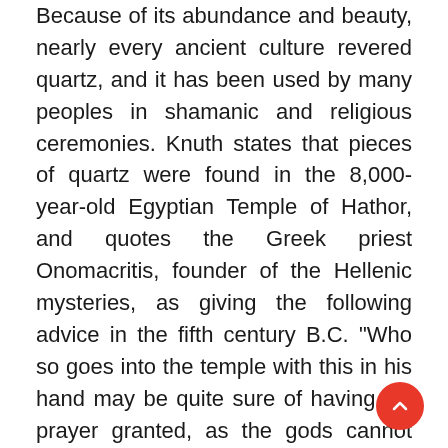Because of its abundance and beauty, nearly every ancient culture revered quartz, and it has been used by many peoples in shamanic and religious ceremonies. Knuth states that pieces of quartz were found in the 8,000-year-old Egyptian Temple of Hathor, and quotes the Greek priest Onomacritis, founder of the Hellenic mysteries, as giving the following advice in the fifth century B.C. "Who so goes into the temple with this in his hand may be quite sure of having his prayer granted, as the gods cannot withstand its power." It has been used to contain spirits, summon both fire and rain, divine the future and as a protection from danger, a medium for clairvoyance, and a conduit to other realms.
In Rumors, I drew on a number of the beliefs about quartz, including a beautiful Vedic belief that says, "if you offer a libation to the dead while wearing [e